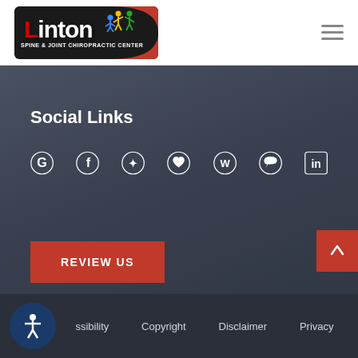[Figure (logo): Linton Spine & Joint Chiropractic Center logo on black background with red arc]
Social Links
[Figure (infographic): Row of social media icons: Google, Facebook, Yelp, Favikon/heart, WordPress, chat bubble, LinkedIn]
REVIEW US
Accessibility  Copyright  Disclaimer  Privacy